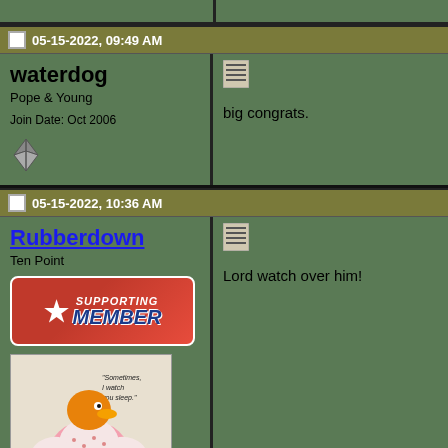05-15-2022, 09:49 AM
waterdog
Pope & Young
Join Date: Oct 2006
big congrats.
05-15-2022, 10:36 AM
Rubberdown
Ten Point
Lord watch over him!